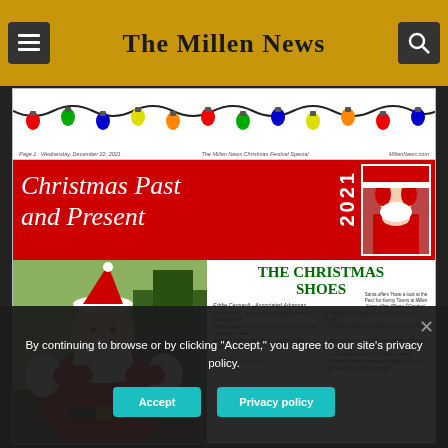The Millen News
[Figure (illustration): Christmas lights banner decorative strip with colorful bulbs (red, green, blue, yellow, orange) strung on a black wire across the top of the newspaper]
Page 1  Wednesday, December 22, 2021   The Millen News Christmas Festival Special   MillenNews.com
Christmas Past and Present 2021
[Figure (photo): Small photo of Santa Claus with a child, inset in the red banner]
Santa offers 'Have a look at the Past' for Kenny Towns at Millen News office (Photo ©Carolee)
[Figure (photo): Large photo of Santa Claus in red suit, waving outdoors with Christmas trees in background]
THE CHRISTMAS SHOES
Eddie Censault - Associated Arkansas
It was almost Christmas time, there I stood in a check out line
Trying to buy that last gift or two, not really in the Christmas mood
Standing right in front of me was a little boy waiting anxiously
Sir, I want to buy these shoes for my mama, please
It's Christmas Eve and these shoes are just her size
Could you hurry, sir, daddy says there's not much time
You see she's been sick for quite a while
And I know these shoes would make her smile
By continuing to browse or by clicking "Accept," you agree to our site's privacy policy.
Accept
Privacy policy